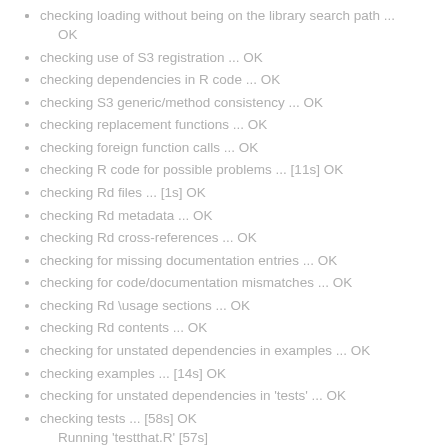checking loading without being on the library search path ... OK
checking use of S3 registration ... OK
checking dependencies in R code ... OK
checking S3 generic/method consistency ... OK
checking replacement functions ... OK
checking foreign function calls ... OK
checking R code for possible problems ... [11s] OK
checking Rd files ... [1s] OK
checking Rd metadata ... OK
checking Rd cross-references ... OK
checking for missing documentation entries ... OK
checking for code/documentation mismatches ... OK
checking Rd \usage sections ... OK
checking Rd contents ... OK
checking for unstated dependencies in examples ... OK
checking examples ... [14s] OK
checking for unstated dependencies in 'tests' ... OK
checking tests ... [58s] OK
    Running 'testthat.R' [57s]
checking PDF version of manual ... OK
DONE
Status: OK